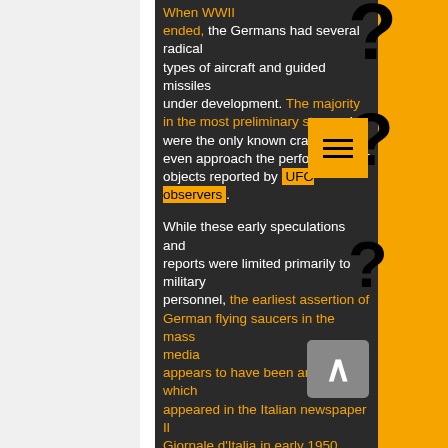When WWII ended, the Germans had several radical types of aircraft and guided missiles under development. The majority in the most preliminary stages, but were the only known craft that could even approach the performance of objects reported by UFO observers. While these early speculations and reports were limited primarily to military personnel, the earliest assertion of German flying saucers in the mass media appears to have been an article which appeared in the Italian newspaper Il Giornale d'Italia in early 1950. Written by Professor Giuseppe Belluzzo, an Italian scientist and a former Italian Minister of National Economy under the Mussolini regime, it claimed that "types of flying discs were designed and studied in Germany and Italy as early